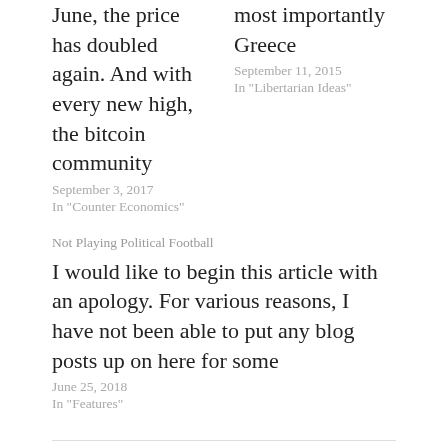June, the price has doubled again. And with every new high, the bitcoin community
September 3, 2017
In "Counter Economics"
most importantly Greece
September 11, 2015
In "Libertarian Ideas"
Not Playing Political Football
I would like to begin this article with an apology. For various reasons, I have not been able to put any blog posts up on here for some
June 25, 2018
In "Features"
← PREVIOUS POST
Libertarians' post–it policies on immigration